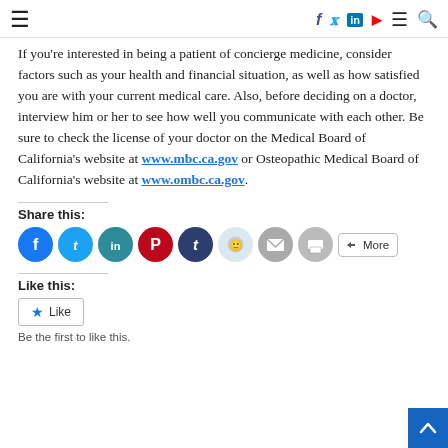Navigation bar with hamburger menu, social icons (Facebook, Twitter, LinkedIn, YouTube), menu and search icons
If you're interested in being a patient of concierge medicine, consider factors such as your health and financial situation, as well as how satisfied you are with your current medical care. Also, before deciding on a doctor, interview him or her to see how well you communicate with each other. Be sure to check the license of your doctor on the Medical Board of California's website at www.mbc.ca.gov or Osteopathic Medical Board of California's website at www.ombc.ca.gov.
Share this:
[Figure (other): Row of social share icon buttons: Facebook (blue circle), Twitter (light blue circle), LinkedIn (teal circle), Pinterest (red circle), Tumblr (dark navy circle), Reddit (light grey circle), Email (grey circle), Print (grey circle), and a More button]
Like this:
[Figure (other): WordPress Like button widget with star icon and 'Like' label. Text below reads 'Be the first to like this.']